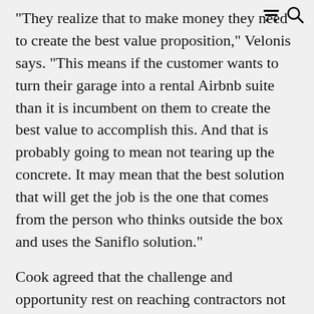“They realize that to make money they need to create the best value proposition,” Velonis says. “This means if the customer wants to turn their garage into a rental Airbnb suite than it is incumbent on them to create the best value to accomplish this. And that is probably going to mean not tearing up the concrete. It may mean that the best solution that will get the job is the one that comes from the person who thinks outside the box and uses the Saniflo solution.”
Cook agreed that the challenge and opportunity rest on reaching contractors not familiar with Saniflo.
“They have been breaking up the floor for years and don’t know that Saniflo offers a solution,” Cook explains. “Our opportunity is to educate our contractor customers about how Saniflo technology enables them to sell the solution of installing a bathroom nearly anywhere with the least amount of labor. The Saniflo